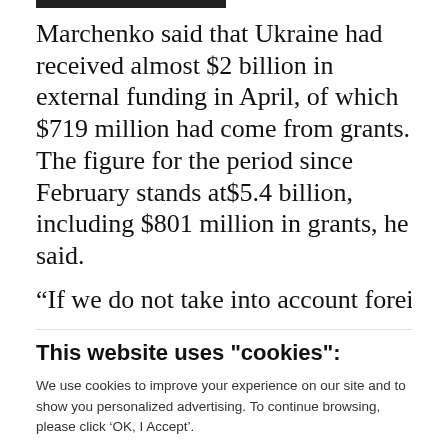Marchenko said that Ukraine had received almost $2 billion in external funding in April, of which $719 million had come from grants. The figure for the period since February stands at$5.4 billion, including $801 million in grants, he said.
“If we do not take into account foreign aid
This website uses "cookies":
We use cookies to improve your experience on our site and to show you personalized advertising. To continue browsing, please click ‘OK, I Accept’.
For more information, please read our Privacy Policy
Ok, I Accept